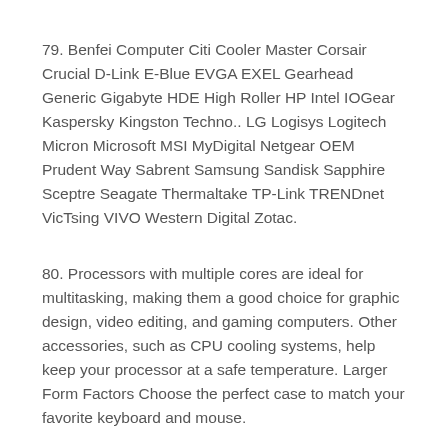79. Benfei Computer Citi Cooler Master Corsair Crucial D-Link E-Blue EVGA EXEL Gearhead Generic Gigabyte HDE High Roller HP Intel IOGear Kaspersky Kingston Techno.. LG Logisys Logitech Micron Microsoft MSI MyDigital Netgear OEM Prudent Way Sabrent Samsung Sandisk Sapphire Sceptre Seagate Thermaltake TP-Link TRENDnet VicTsing VIVO Western Digital Zotac.
80. Processors with multiple cores are ideal for multitasking, making them a good choice for graphic design, video editing, and gaming computers. Other accessories, such as CPU cooling systems, help keep your processor at a safe temperature. Larger Form Factors Choose the perfect case to match your favorite keyboard and mouse.